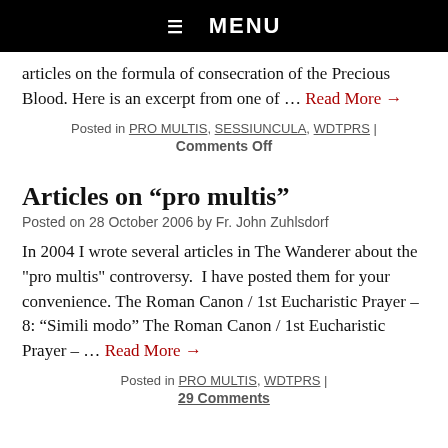☰  MENU
articles on the formula of consecration of the Precious Blood. Here is an excerpt from one of … Read More →
Posted in PRO MULTIS, SESSIUNCULA, WDTPRS | Comments Off
Articles on “pro multis”
Posted on 28 October 2006 by Fr. John Zuhlsdorf
In 2004 I wrote several articles in The Wanderer about the "pro multis" controversy.  I have posted them for your convenience. The Roman Canon / 1st Eucharistic Prayer – 8: “Simili modo” The Roman Canon / 1st Eucharistic Prayer – … Read More →
Posted in PRO MULTIS, WDTPRS | 29 Comments